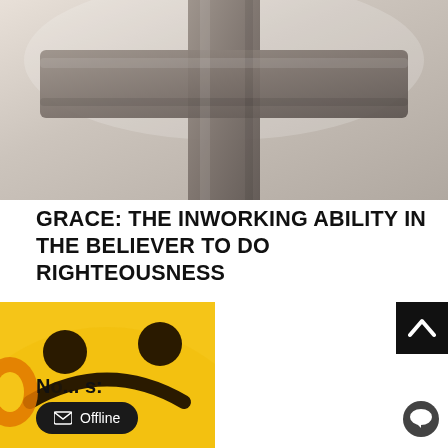[Figure (photo): Close-up photo of a stone or concrete Christian cross against a light sky background]
GRACE: THE INWORKING ABILITY IN THE BELIEVER TO DO RIGHTEOUSNESS
[Figure (photo): Yellow emoji face with sad/crying expression, partially visible]
IS GOD A... WICKED...
[Figure (screenshot): Telegram channel popup notification: IT'S GOSPEL ON THE GO — Stay updated to our Gospel daily! - Pastor Jenning Online — Join Telegram Channel button]
No... s:
Offline